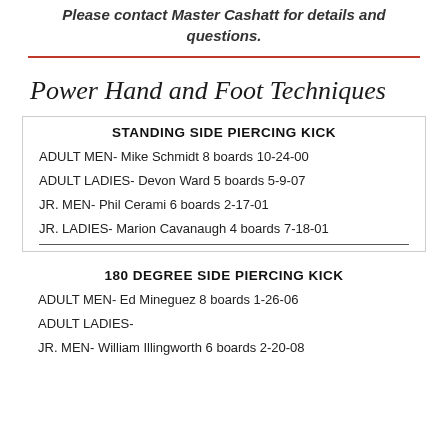Please contact Master Cashatt for details and questions.
Power Hand and Foot Techniques
STANDING SIDE PIERCING KICK
ADULT MEN- Mike Schmidt 8 boards 10-24-00
ADULT LADIES- Devon Ward 5 boards 5-9-07
JR. MEN- Phil Cerami 6 boards 2-17-01
JR. LADIES- Marion Cavanaugh 4 boards 7-18-01
180 DEGREE SIDE PIERCING KICK
ADULT MEN- Ed Mineguez 8 boards 1-26-06
ADULT LADIES-
JR. MEN- William Illingworth 6 boards 2-20-08